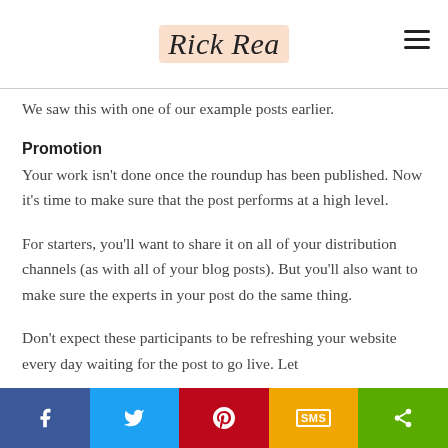Rick Rea
We saw this with one of our example posts earlier.
Promotion
Your work isn’t done once the roundup has been published. Now it’s time to make sure that the post performs at a high level.
For starters, you’ll want to share it on all of your distribution channels (as with all of your blog posts). But you’ll also want to make sure the experts in your post do the same thing.
Don’t expect these participants to be refreshing your website every day waiting for the post to go live. Let